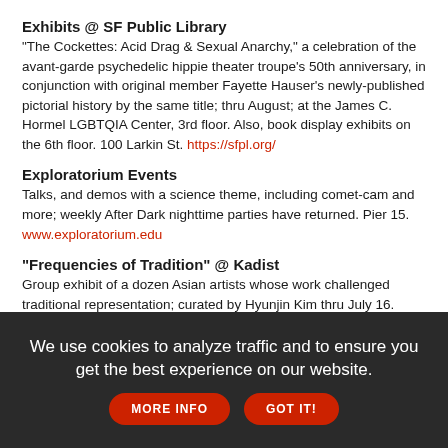Exhibits @ SF Public Library
"The Cockettes: Acid Drag & Sexual Anarchy," a celebration of the avant-garde psychedelic hippie theater troupe's 50th anniversary, in conjunction with original member Fayette Hauser's newly-published pictorial history by the same title; thru August; at the James C. Hormel LGBTQIA Center, 3rd floor. Also, book display exhibits on the 6th floor. 100 Larkin St. https://sfpl.org/
Exploratorium Events
Talks, and demos with a science theme, including comet-cam and more; weekly After Dark nighttime parties have returned. Pier 15. www.exploratorium.edu
"Frequencies of Tradition" @ Kadist
Group exhibit of a dozen Asian artists whose work challenged traditional representation; curated by Hyunjin Kim thru July 16. 3295 20th St. https://kadist.org/san-francisco/
We use cookies to analyze traffic and to ensure you get the best experience on our website. MORE INFO GOT IT!